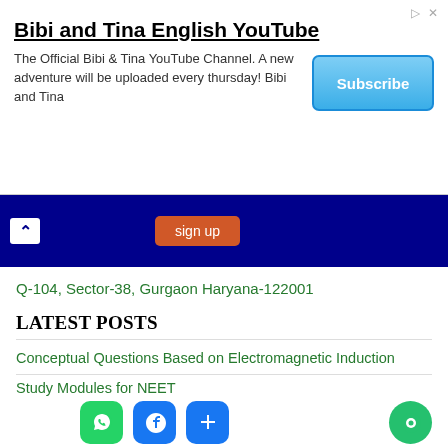[Figure (screenshot): Advertisement banner for Bibi and Tina English YouTube channel with Subscribe button]
[Figure (screenshot): Blue navigation bar with caret icon and orange button]
Q-104, Sector-38, Gurgaon Haryana-122001
LATEST POSTS
Conceptual Questions Based on Electromagnetic Induction
Study Modules for NEET
Chapterwise MCQ Question Bank for JEE Main Chemistry with Answers
[Figure (screenshot): Social share bar with WhatsApp, Facebook, More, and Chat bubble icons]